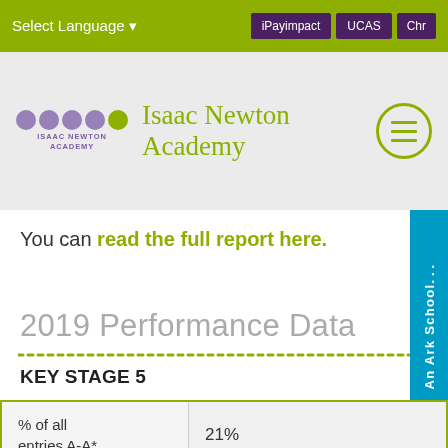Select Language ▾   iPayimpact   UCAS   Chr…
[Figure (logo): Isaac Newton Academy logo with purple circles and green dot, alongside text 'Isaac Newton Academy' in green, and hamburger menu icon]
You can read the full report here.
2019 Performance Data
KEY STAGE 5
| % of all entries A-A* | 21% |